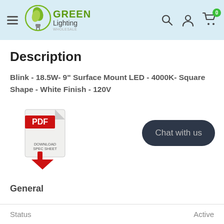[Figure (logo): Green Lighting Wholesale logo with green leaf lightbulb icon]
Description
Blink - 18.5W- 9" Surface Mount LED - 4000K- Square Shape - White Finish - 120V
[Figure (other): PDF Download Spec Sheet icon]
General
| Status | Active |
| --- | --- |